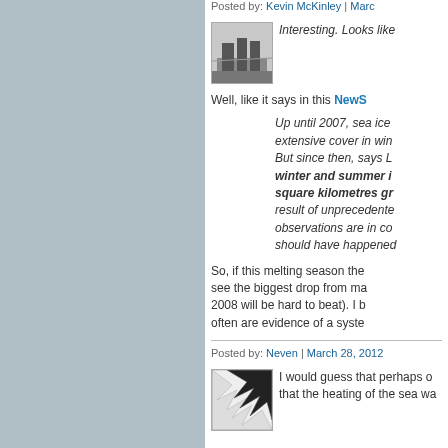Posted by: Kevin McKinley | March...
[Figure (photo): Black and white thumbnail photo of a waterfront or dock scene with poles/cranes]
Interesting. Looks like
Well, like it says in this NewScientist...
Up until 2007, sea ice ... extensive cover in win... But since then, says L... winter and summer i... square kilometres gr... result of unprecedente... observations are in co... should have happened
So, if this melting season the... see the biggest drop from ma... 2008 will be hard to beat). I b... often are evidence of a syste...
Posted by: Neven | March 28, 2012
[Figure (photo): Thumbnail photo of sea ice chunks, black and white geometric ice floes]
I would guess that perhaps o... that the heating of the sea wa...